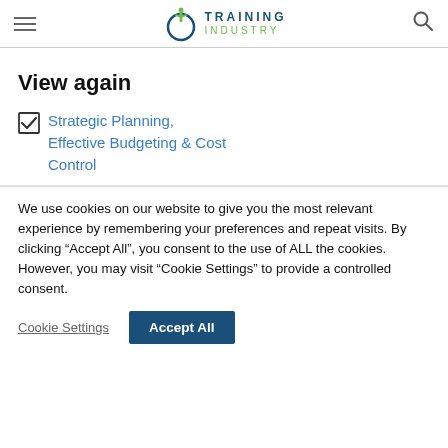Training Industry
View again
Strategic Planning, Effective Budgeting & Cost Control
We use cookies on our website to give you the most relevant experience by remembering your preferences and repeat visits. By clicking “Accept All”, you consent to the use of ALL the cookies. However, you may visit “Cookie Settings” to provide a controlled consent.
Cookie Settings  Accept All